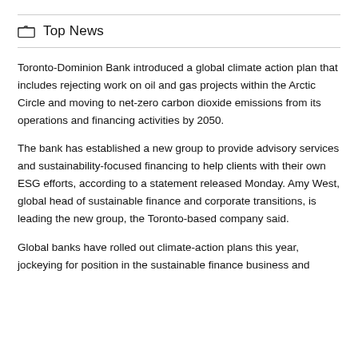Top News
Toronto-Dominion Bank introduced a global climate action plan that includes rejecting work on oil and gas projects within the Arctic Circle and moving to net-zero carbon dioxide emissions from its operations and financing activities by 2050.
The bank has established a new group to provide advisory services and sustainability-focused financing to help clients with their own ESG efforts, according to a statement released Monday. Amy West, global head of sustainable finance and corporate transitions, is leading the new group, the Toronto-based company said.
Global banks have rolled out climate-action plans this year, jockeying for position in the sustainable finance business and